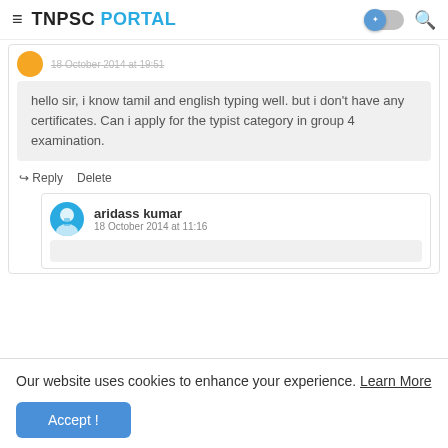TNPSC PORTAL
18 October 2014 at 19:51
hello sir, i know tamil and english typing well. but i don't have any certificates. Can i apply for the typist category in group 4 examination.
Reply   Delete
aridass kumar
18 October 2014 at 11:16
Our website uses cookies to enhance your experience. Learn More
Accept !